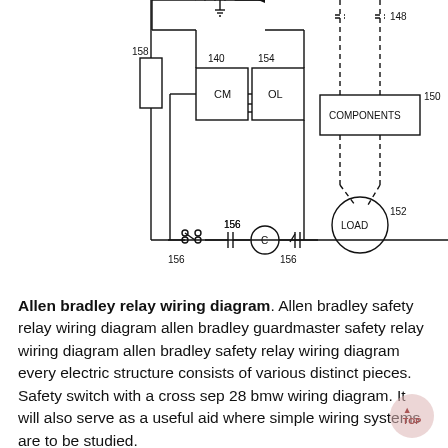[Figure (schematic): Electrical wiring/relay schematic diagram showing components labeled 140 (CM), 154 (OL), 148, 150 (COMPONENTS box), 152 (LOAD circle), 156 (capacitors/switches), 158 (resistor/component on left), with dashed and solid connection lines.]
Allen bradley relay wiring diagram. Allen bradley safety relay wiring diagram allen bradley guardmaster safety relay wiring diagram allen bradley safety relay wiring diagram every electric structure consists of various distinct pieces. Safety switch with a cross sep 28 bmw wiring diagram. It will also serve as a useful aid where simple wiring systems are to be studied.